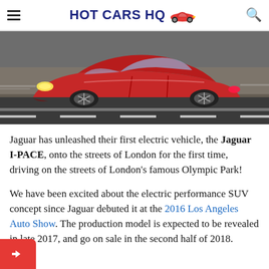HOT CARS HQ
[Figure (photo): Red Jaguar I-PACE electric SUV driving on a road, motion-blurred background suggesting speed, photographed from a front-side angle.]
Jaguar has unleashed their first electric vehicle, the Jaguar I-PACE, onto the streets of London for the first time, driving on the streets of London's famous Olympic Park!
We have been excited about the electric performance SUV concept since Jaguar debuted it at the 2016 Los Angeles Auto Show. The production model is expected to be revealed in late 2017, and go on sale in the second half of 2018.